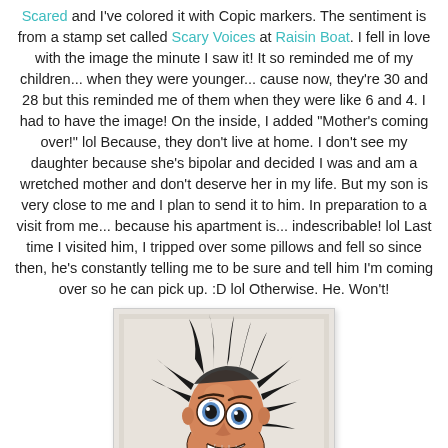Scared and I've colored it with Copic markers. The sentiment is from a stamp set called Scary Voices at Raisin Boat. I fell in love with the image the minute I saw it! It so reminded me of my children... when they were younger... cause now, they're 30 and 28 but this reminded me of them when they were like 6 and 4. I had to have the image! On the inside, I added "Mother's coming over!" lol Because, they don't live at home. I don't see my daughter because she's bipolar and decided I was and am a wretched mother and don't deserve her in my life. But my son is very close to me and I plan to send it to him. In preparation to a visit from me... because his apartment is... indescribable! lol Last time I visited him, I tripped over some pillows and fell so since then, he's constantly telling me to be sure and tell him I'm coming over so he can pick up. :D lol Otherwise. He. Won't!
[Figure (illustration): A cartoon illustration of a scared/startled person with wild spiky hair, wide bulging eyes, and a grimacing expression, colored with Copic markers, shown on a light gray/beige background card.]